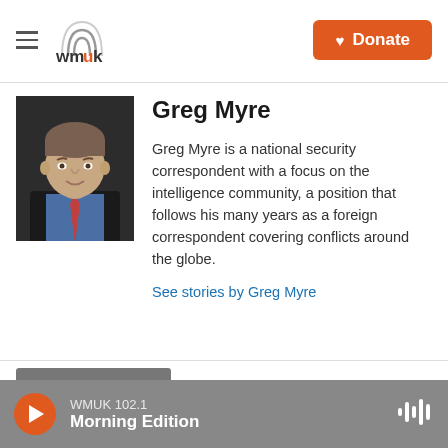WMUK | Donate
Greg Myre
Greg Myre is a national security correspondent with a focus on the intelligence community, a position that follows his many years as a foreign correspondent covering conflicts around the globe.
See stories by Greg Myre
WMUK 102.1 Morning Edition